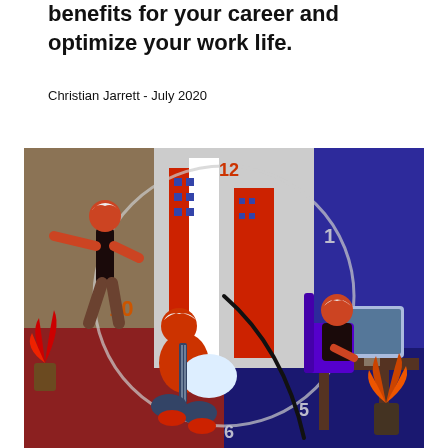benefits for your career and optimize your work life.
Christian Jarrett - July 2020
[Figure (illustration): Colorful illustration depicting a clock face overlaid on two scenes: on the left, a person dancing/stretching with arms out in a warm-toned living room with a person playing guitar on the floor and a red plant; on the right, a person sitting at a desk working on a computer in a blue-toned room. Clock numbers 10, 11/12, 1, 2, 5, 6 are visible. The image uses bold flat colors including red, blue, orange, brown, and white.]